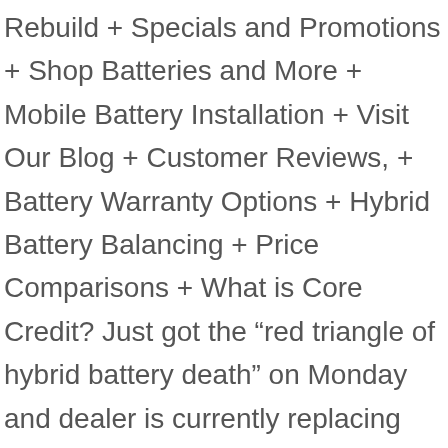Rebuild + Specials and Promotions + Shop Batteries and More + Mobile Battery Installation + Visit Our Blog + Customer Reviews, + Battery Warranty Options + Hybrid Battery Balancing + Price Comparisons + What is Core Credit? Just got the “red triangle of hybrid battery death” on Monday and dealer is currently replacing the battery. 2014 Honda ACCORD … The dealer replaced with another honda battery. Reply. F. … 2007 Honda Accord SE … Depending on the model of Hybrid you own, batteries have been reported to last anywhere between 70,000 and 200,000 miles. A Honda Accord has the potential to last for 200,000 if it’s cared for properly, even if it’s a used model like the 2016 Honda Accord. Consumer Reports has claimed that Accord is one of the … If you do all of these things, you will extend your hybrid battery lifespan and hybrids